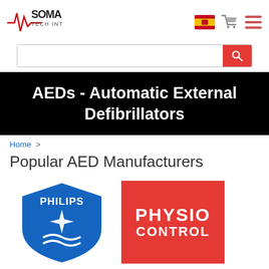[Figure (logo): Soma Tech Intl logo with red heartbeat line graphic and company name]
[Figure (logo): Spanish flag icon, shopping cart icon, and hamburger menu icon in the header]
[Figure (screenshot): Search bar with red search button]
AEDs - Automatic External Defibrillators
Home >
Popular AED Manufacturers
[Figure (logo): Philips logo — blue shield shape with white Philips text and star/wave graphic]
[Figure (logo): Physio Control logo — red rectangle with white bold text reading PHYSIO CONTROL]